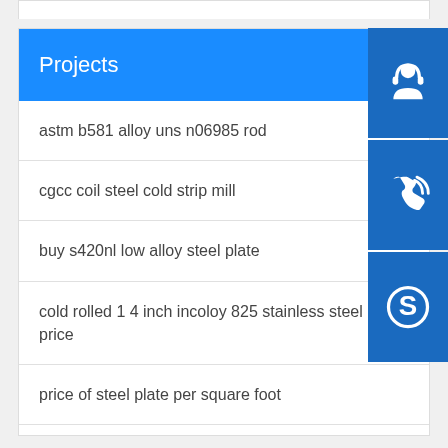Projects
astm b581 alloy uns n06985 rod
cgcc coil steel cold strip mill
buy s420nl low alloy steel plate
cold rolled 1 4 inch incoloy 825 stainless steel p price
price of steel plate per square foot
manufacturers hot sale supply good hot dipped steel pipe